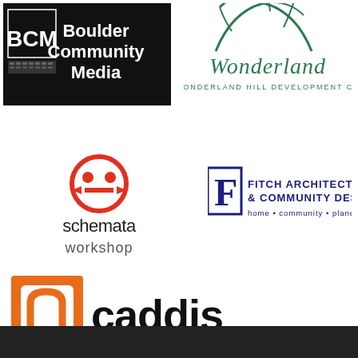[Figure (logo): BCM Boulder Community Media logo - black rectangle with BCM text and television icon, white bold text reading Boulder Community Media]
[Figure (logo): Wonderland Hill Development Co logo - green palm/sun illustration with cursive Wonderland text and WONDERLAND HILL DEVELOPMENT CO subtitle]
[Figure (logo): Schemata Workshop logo - red circular icon with arrows and lowercase schemata workshop text]
[Figure (logo): Fitch Architecture & Community Design logo - dark blue F letter in box with text FITCH ARCHITECTURE & COMMUNITY DESIGN home community planet]
[Figure (logo): Caddis logo - orange square with n/a icon and bold black caddis text]